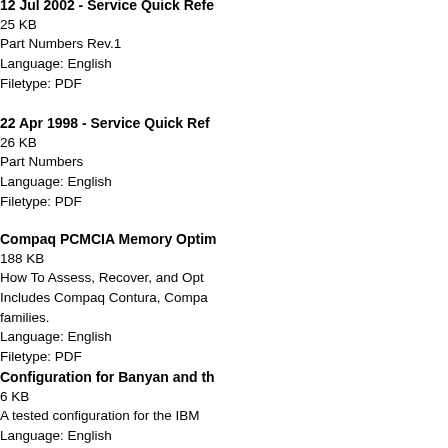12 Jul 2002 - Service Quick Refe...
25 KB
Part Numbers Rev.1
Language: English
Filetype: PDF
22 Apr 1998 - Service Quick Ref...
26 KB
Part Numbers
Language: English
Filetype: PDF
Compaq PCMCIA Memory Optin...
188 KB
How To Assess, Recover, and Opt...
Includes Compaq Contura, Compa... families.
Language: English
Filetype: PDF
Configuration for Banyan and th...
6 KB
A tested configuration for the IBM...
Language: English
Filetype: TXT
Big-Harddisk-HOWTO
6 KB
Step-by-step-instruction for installi...
Language: English